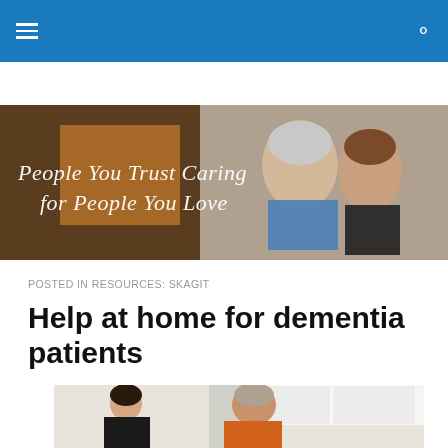Navigation bar with hamburger menu and search icon
[Figure (photo): Banner photo of two smiling women with italic script text overlay reading 'People You Trust Caring for People You Love']
POSTED IN RESOURCES: SKAGIT
Help at home for dementia patients
[Figure (photo): Photo of a young man in a black shirt and an older man in an orange shirt in a kitchen setting]